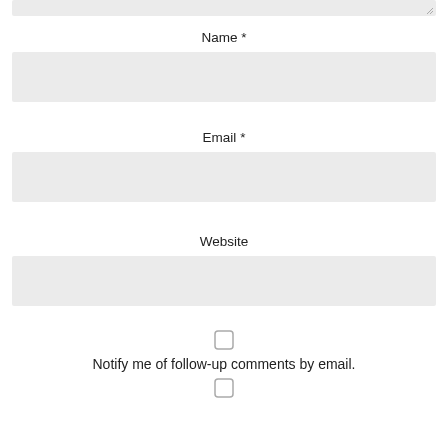Name *
[Figure (other): Text input field for Name]
Email *
[Figure (other): Text input field for Email]
Website
[Figure (other): Text input field for Website]
Notify me of follow-up comments by email.